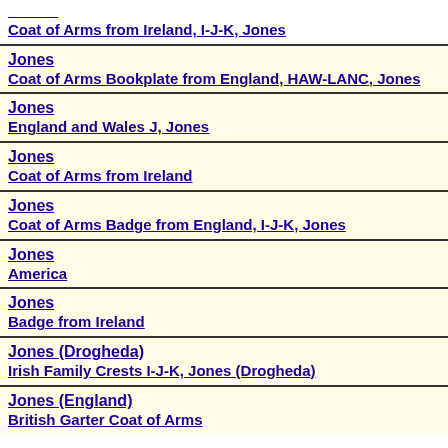Coat of Arms from Ireland, I-J-K, Jones
Jones
Coat of Arms Bookplate from England, HAW-LANC, Jones
Jones
England and Wales J, Jones
Jones
Coat of Arms from Ireland
Jones
Coat of Arms Badge from England, I-J-K, Jones
Jones
America
Jones
Badge from Ireland
Jones (Drogheda)
Irish Family Crests I-J-K, Jones (Drogheda)
Jones (England)
British Garter Coat of Arms